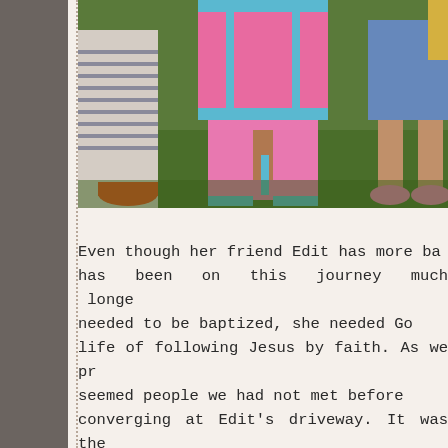[Figure (photo): Outdoor photo showing children standing on grass. A child in the center wears a pink tracksuit with blue accents and orange sneakers. Other children are partially visible on the left and right sides.]
Even though her friend Edit has more ba has been on this journey much longer needed to be baptized, she needed God life of following Jesus by faith. As we pre seemed people we had not met before converging at Edit's driveway. It was then who had only lived in Bogács for the p